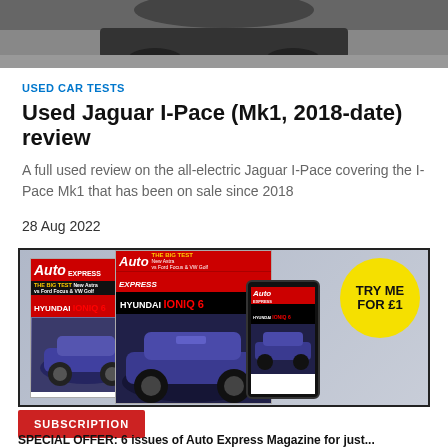[Figure (photo): Top portion of a car photographed from above on a grey road surface]
USED CAR TESTS
Used Jaguar I-Pace (Mk1, 2018-date) review
A full used review on the all-electric Jaguar I-Pace covering the I-Pace Mk1 that has been on sale since 2018
28 Aug 2022
[Figure (photo): Auto Express magazine subscription advertisement showing magazine covers featuring Hyundai Ioniq 6 on tablet, print and phone formats, with a yellow circle saying TRY ME FOR £1]
SUBSCRIPTION
SPECIAL OFFER: 6 issues of Auto Express Magazine for just...